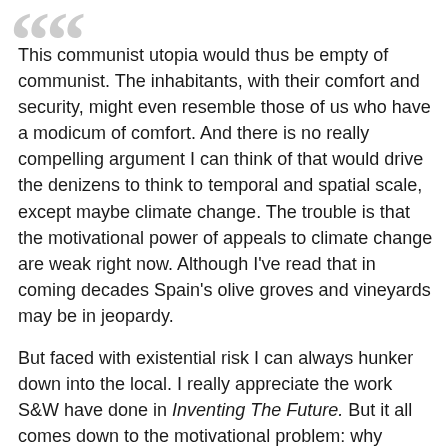This communist utopia would thus be empty of communist. The inhabitants, with their comfort and security, might even resemble those of us who have a modicum of comfort. And there is no really compelling argument I can think of that would drive the denizens to think to temporal and spatial scale, except maybe climate change. The trouble is that the motivational power of appeals to climate change are weak right now. Although I've read that in coming decades Spain's olive groves and vineyards may be in jeopardy.
But faced with existential risk I can always hunker down into the local. I really appreciate the work S&W have done in Inventing The Future. But it all comes down to the motivational problem: why should anyone care? Climate change and the existential risk it poses is curiously the one thing they don't really discuss. This is also something to be fixed “after the revolution”.
I tend to go with the more pessimistic thoughts on the likely outcome of all of this. I think one of the reasons we see ISIS emerge at the same time as we see the neoreactionaries emerge is because they both know something the left doesn’t: in times of extreme crisis and dissolution order and stability become more